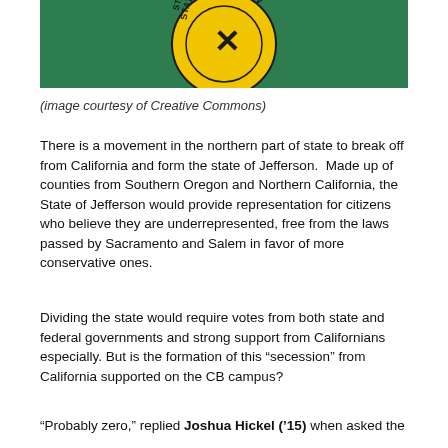[Figure (illustration): Partial view of the State of Jefferson flag showing a yellow circle emblem with 'STATE OF JEFFERSON' text on a green background]
(image courtesy of Creative Commons)
There is a movement in the northern part of state to break off from California and form the state of Jefferson.  Made up of counties from Southern Oregon and Northern California, the State of Jefferson would provide representation for citizens who believe they are underrepresented, free from the laws passed by Sacramento and Salem in favor of more conservative ones.
Dividing the state would require votes from both state and federal governments and strong support from Californians especially. But is the formation of this “secession” from California supported on the CB campus?
“Probably zero,” replied Joshua Hickel (’15) when asked the